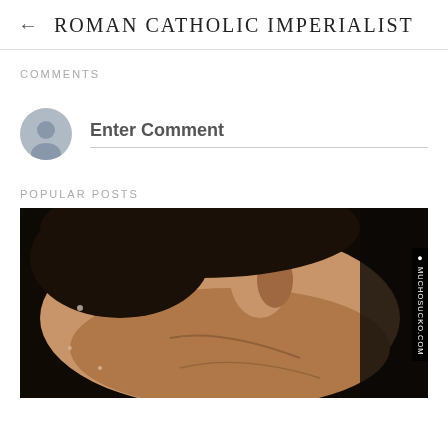← ROMAN CATHOLIC IMPERIALIST
COMMENTS
Enter Comment
POPULAR POSTS
[Figure (photo): Close-up photograph of a person's face/neck area, side view, dark background. Watermark text 'MUCHOSUCKO.COM' visible on right side.]